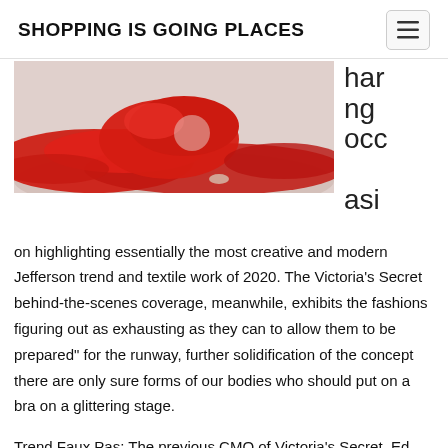SHOPPING IS GOING PLACES
[Figure (photo): Woman in red flowing dress/fabric on a sandy or light-colored surface, shot from above, with fabric spread dramatically around her.]
har ng occ asi on highlighting essentially the most creative and modern Jefferson trend and textile work of 2020. The Victoria’s Secret behind-the-scenes coverage, meanwhile, exhibits the fashions figuring out as exhausting as they can to allow them to be prepared” for the runway, further solidification of the concept there are only sure forms of our bodies who should put on a bra on a glittering stage.
Trend Faux Pas: The previous CMO of Victoria’s Secret, Ed Razek informed Vogue final year the present is a